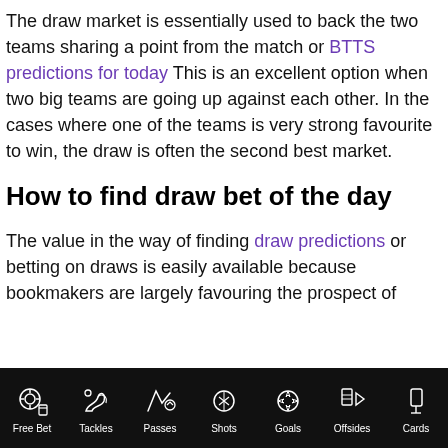The draw market is essentially used to back the two teams sharing a point from the match or BTTS predictions for today This is an excellent option when two big teams are going up against each other. In the cases where one of the teams is very strong favourite to win, the draw is often the second best market.
How to find draw bet of the day
The value in the way of finding draw predictions or betting on draws is easily available because bookmakers are largely favouring the prospect of
Free Bet  Tackles  Passes  Shots  Goals  Offsides  Cards